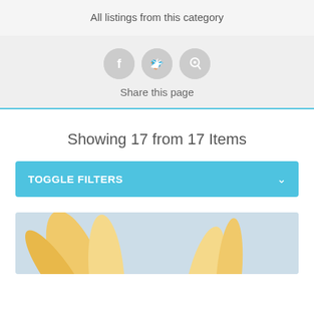All listings from this category
[Figure (infographic): Social sharing icons: Facebook, Twitter, Pinterest circles in grey]
Share this page
Showing 17 from 17 Items
TOGGLE FILTERS
[Figure (photo): Partial view of yellow/golden decorative leaves or feathers on a light blue background]